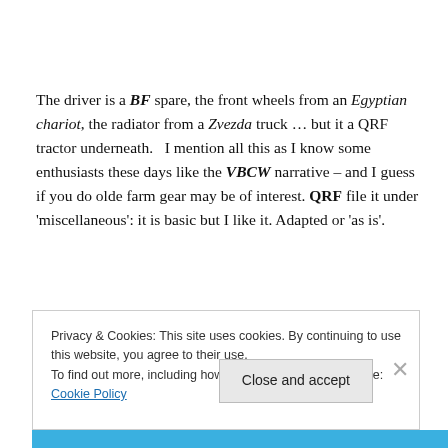The driver is a BF spare, the front wheels from an Egyptian chariot, the radiator from a Zvezda truck … but it a QRF tractor underneath.   I mention all this as I know some enthusiasts these days like the VBCW narrative – and I guess if you do olde farm gear may be of interest. QRF file it under 'miscellaneous': it is basic but I like it. Adapted or 'as is'.
Privacy & Cookies: This site uses cookies. By continuing to use this website, you agree to their use.
To find out more, including how to control cookies, see here: Cookie Policy
Close and accept